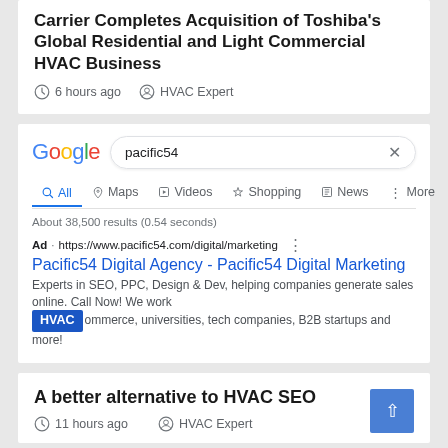Carrier Completes Acquisition of Toshiba's Global Residential and Light Commercial HVAC Business
6 hours ago  HVAC Expert
[Figure (screenshot): Google search interface showing search for 'pacific54' with tabs: All, Maps, Videos, Shopping, News, More. Shows about 38,500 results (0.54 seconds). Ad result for Pacific54 Digital Agency - Pacific54 Digital Marketing with HVAC badge overlay.]
A better alternative to HVAC SEO
11 hours ago  HVAC Expert